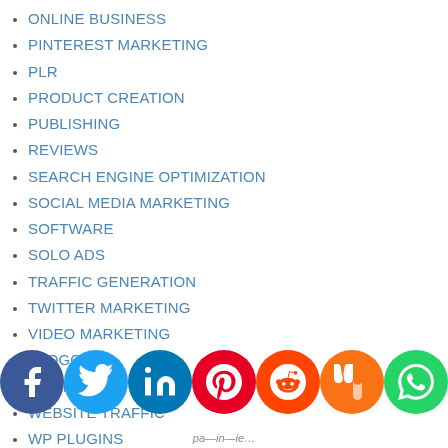ONLINE BUSINESS
PINTEREST MARKETING
PLR
PRODUCT CREATION
PUBLISHING
REVIEWS
SEARCH ENGINE OPTIMIZATION
SOCIAL MEDIA MARKETING
SOFTWARE
SOLO ADS
TRAFFIC GENERATION
TWITTER MARKETING
VIDEO MARKETING
VLOGGING
WEBINAR
WEBSITE TRAFFIC
WP PLUGINS
WP THEME'S
YOUTUBE
[Figure (infographic): Social media sharing icon bar with Facebook, Twitter, LinkedIn, Pinterest, Reddit, Mix, WhatsApp, and Share icons as colored circles]